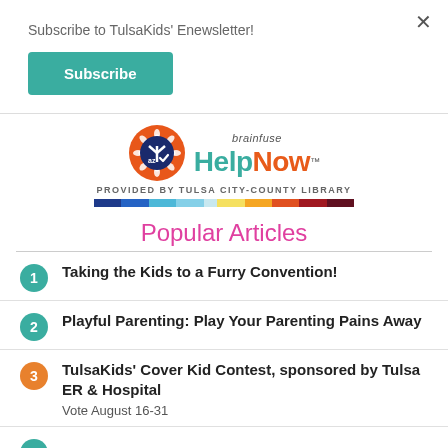Subscribe to TulsaKids' Enewsletter!
Subscribe
[Figure (logo): Brainfuse HelpNow logo with orange circle icon containing az and checkmark, with brainfuse HelpNow text. Below: PROVIDED BY TULSA CITY-COUNTY LIBRARY with colorful bar.]
Popular Articles
1. Taking the Kids to a Furry Convention!
2. Playful Parenting: Play Your Parenting Pains Away
3. TulsaKids' Cover Kid Contest, sponsored by Tulsa ER & Hospital
Vote August 16-31